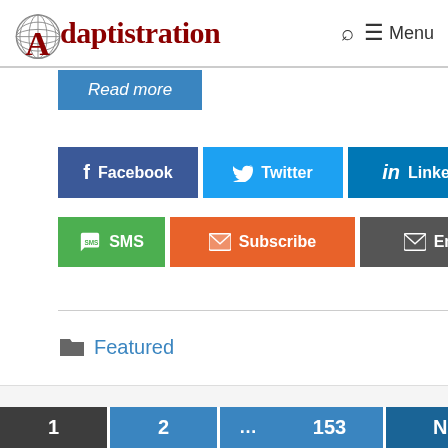Adaptistration — Menu
Read more
Facebook  Twitter  LinkedIn  SMS  Subscribe  Email
Featured
1  2  ...  153  Next →